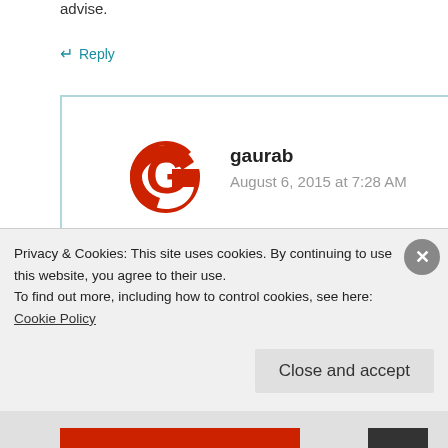advise.
↵ Reply
gaurab
August 6, 2015 at 7:28 AM
By AWS Practice Test I meant the test mentioned here:
Privacy & Cookies: This site uses cookies. By continuing to use this website, you agree to their use.
To find out more, including how to control cookies, see here: Cookie Policy
Close and accept